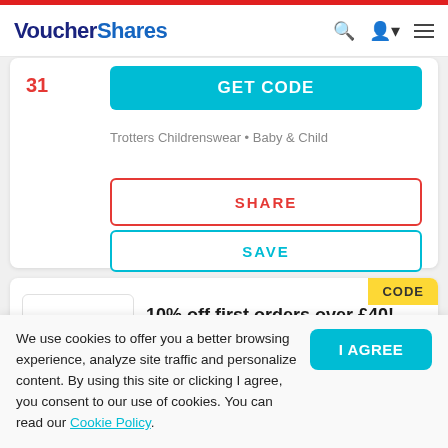VoucherShares
31
GET CODE
Trotters Childrenswear • Baby & Child
SHARE
SAVE
CODE
10% off first orders over £40!
Get 10% off first orders over £40
We use cookies to offer you a better browsing experience, analyze site traffic and personalize content. By using this site or clicking I agree, you consent to our use of cookies. You can read our Cookie Policy.